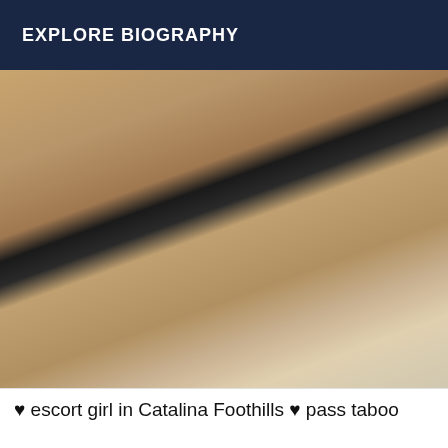EXPLORE BIOGRAPHY
[Figure (photo): Close-up photo of a person wearing black strappy lingerie and fishnet stockings, lying on a bed with white floral bedding.]
♥ escort girl in Catalina Foothills ♥ pass taboo